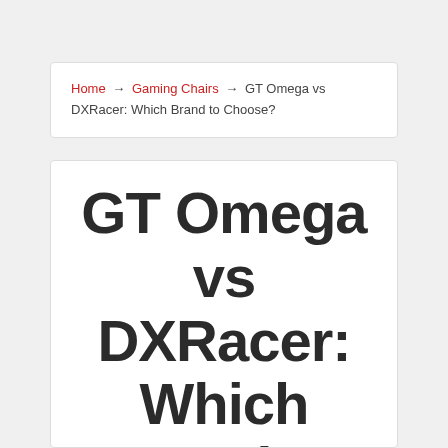Home → Gaming Chairs → GT Omega vs DXRacer: Which Brand to Choose?
GT Omega vs DXRacer: Which Brand to Choose?
Gaming has really come into its own in the last decade or so, becoming more